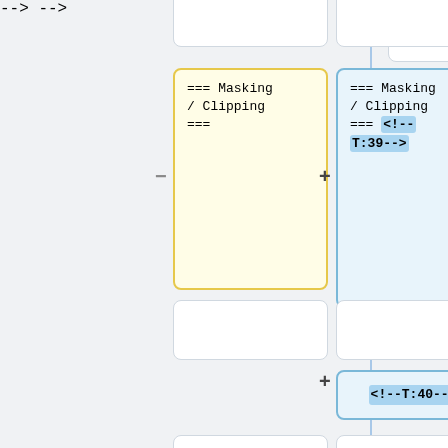[Figure (screenshot): Diff/comparison view showing two columns of wiki markup cards. Left column has a yellow-bordered card with '=== Masking / Clipping ===' and a white card below it. Right column has a blue-bordered card with '=== Masking / Clipping === <!--T:39-->' highlighted, a white card, and a blue card with '<!--T:40-->'. Both columns end with a white card containing wiki list text about releasing or undoing a mask.]